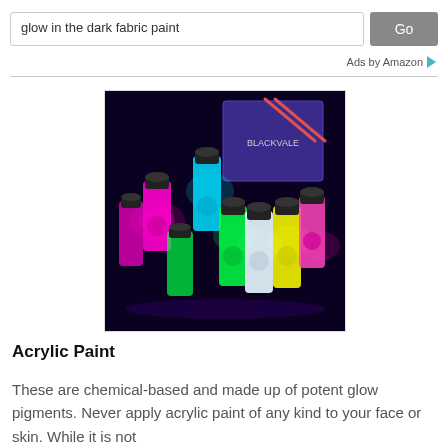glow in the dark fabric paint  Go
Ads by Amazon
[Figure (photo): Multiple glowing paint bottles emitting neon colors (pink, green, cyan, yellow, white) arranged in front of a product box, photographed in the dark against a dark background.]
Acrylic Paint
These are chemical-based and made up of potent glow pigments. Never apply acrylic paint of any kind to your face or skin. While it is not